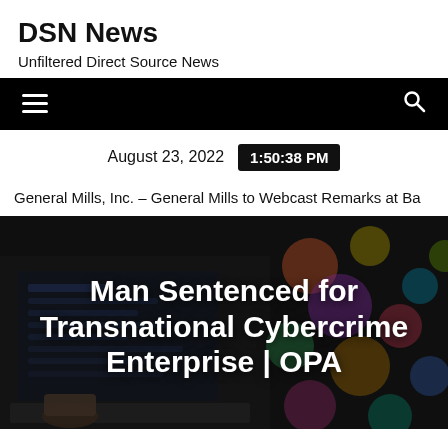DSN News
Unfiltered Direct Source News
[Figure (other): Navigation bar with hamburger menu icon on the left and search icon on the right, black background]
August 23, 2022  1:50:38 PM
General Mills, Inc. – General Mills to Webcast Remarks at Ba
Man Sentenced for Transnational Cybercrime Enterprise | OPA